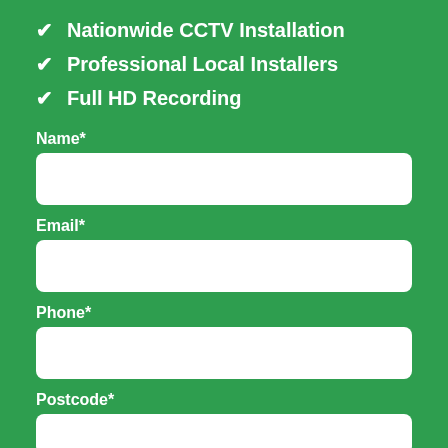✔ Nationwide CCTV Installation
✔ Professional Local Installers
✔ Full HD Recording
Name*
Email*
Phone*
Postcode*